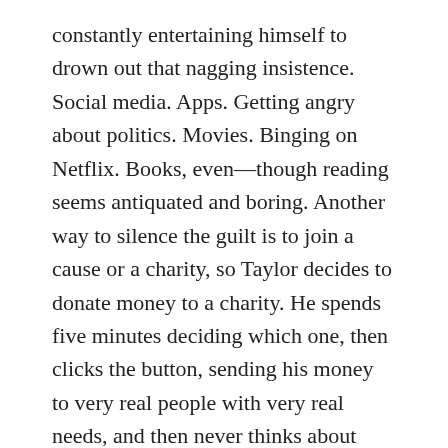constantly entertaining himself to drown out that nagging insistence. Social media. Apps. Getting angry about politics. Movies. Binging on Netflix. Books, even—though reading seems antiquated and boring. Another way to silence the guilt is to join a cause or a charity, so Taylor decides to donate money to a charity. He spends five minutes deciding which one, then clicks the button, sending his money to very real people with very real needs, and then never thinks about them again. Maybe a few times now and then, but it's fleeting. In the